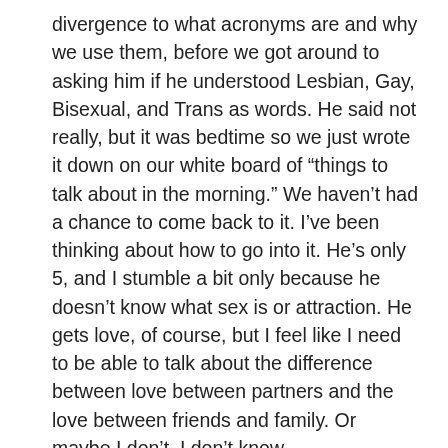divergence to what acronyms are and why we use them, before we got around to asking him if he understood Lesbian, Gay, Bisexual, and Trans as words. He said not really, but it was bedtime so we just wrote it down on our white board of “things to talk about in the morning.” We haven’t had a chance to come back to it. I’ve been thinking about how to go into it. He’s only 5, and I stumble a bit only because he doesn’t know what sex is or attraction. He gets love, of course, but I feel like I need to be able to talk about the difference between love between partners and the love between friends and family. Or maybe I don’t. I don’t know.
I’m so much more familiar with picture books